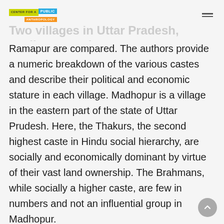CENTER FOR A PUBLIC ANTHROPOLOGY
Two villages in Uttar Pradesh, Madhopur and
Ramapur are compared. The authors provide a numeric breakdown of the various castes and describe their political and economic stature in each village. Madhopur is a village in the eastern part of the state of Uttar Prudesh. Here, the Thakurs, the second highest caste in Hindu social hierarchy, are socially and economically dominant by virtue of their vast land ownership. The Brahmans, while socially a higher caste, are few in numbers and not an influential group in Madhopur.